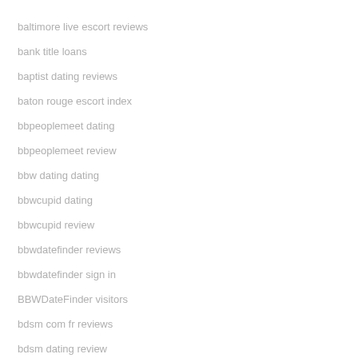baltimore live escort reviews
bank title loans
baptist dating reviews
baton rouge escort index
bbpeoplemeet dating
bbpeoplemeet review
bbw dating dating
bbwcupid dating
bbwcupid review
bbwdatefinder reviews
bbwdatefinder sign in
BBWDateFinder visitors
bdsm com fr reviews
bdsm dating review